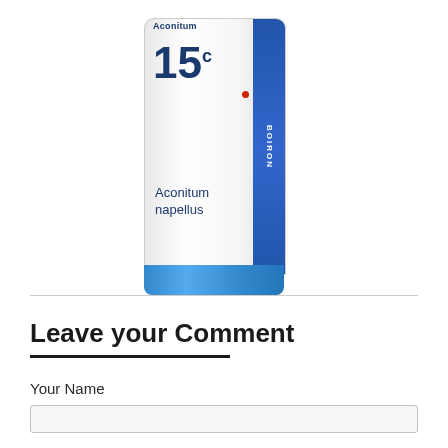[Figure (photo): Boiron Aconitum napellus 15c homeopathic tube/vial product. White cylindrical tube with blue stripe on right side, BOIRON branding, showing '15c' potency and 'Aconitum napellus' text, blue bottom cap.]
Leave your Comment
Your Name